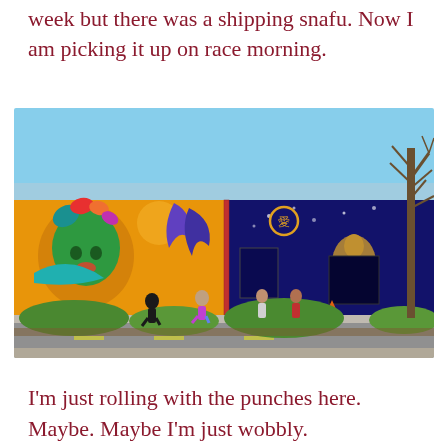week but there was a shipping snafu. Now I am picking it up on race morning.
[Figure (photo): Outdoor photo of runners jogging past a large colorful street mural painted on the side of a building. The mural features a woman with a green face mask and tropical flowers on the left, and cosmic/celestial figures on the right dark blue section. A bare tree is visible on the right side. Green bushes line the sidewalk in the foreground.]
I'm just rolling with the punches here. Maybe. Maybe I'm just wobbly.